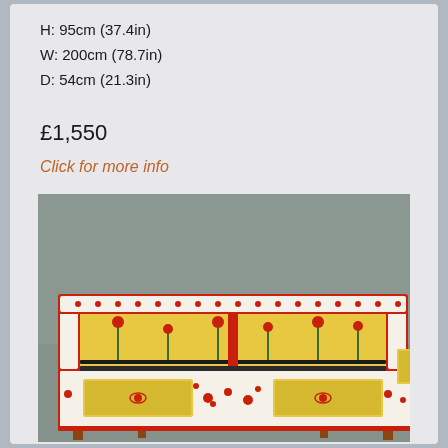H: 95cm (37.4in)
W: 200cm (78.7in)
D: 54cm (21.3in)
£1,550
Click for more info
[Figure (photo): A decorative painted wooden bench/settee with elaborate red, white, and green floral folk art patterns. The bench has a high slatted back and a seat with two front drawers decorated with yellow panels featuring floral motifs. The piece appears to be of Eastern European or South Asian folk origin, photographed against a grey wall.]